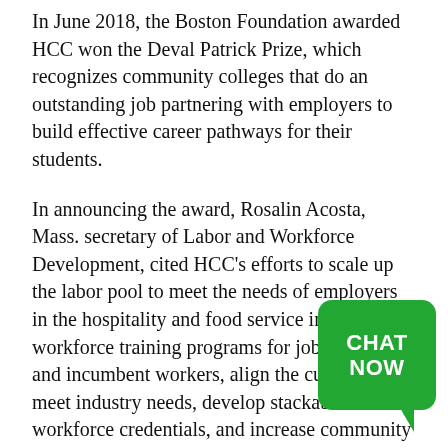In June 2018, the Boston Foundation awarded HCC won the Deval Patrick Prize, which recognizes community colleges that do an outstanding job partnering with employers to build effective career pathways for their students.
In announcing the award, Rosalin Acosta, Mass. secretary of Labor and Workforce Development, cited HCC's efforts to scale up the labor pool to meet the needs of employers in the hospitality and food service industry, add workforce training programs for job seekers and incumbent workers, align the curriculum to meet industry needs, develop stackable workforce credentials, and increase community engagement around issues such as food insecurity. Most impressive, she said, was the opening of the MGM Culinary Arts Institute in HCC's Innovation District.
[Figure (other): Green chat bubble button with text CHAT NOW]